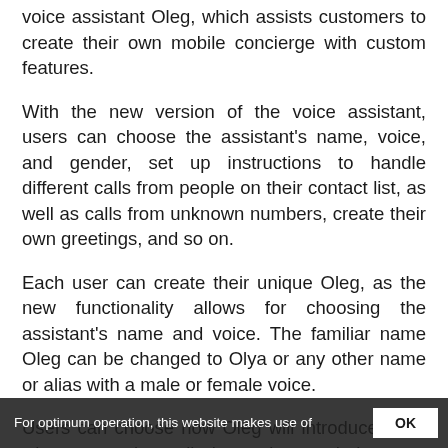voice assistant Oleg, which assists customers to create their own mobile concierge with custom features.
With the new version of the voice assistant, users can choose the assistant's name, voice, and gender, set up instructions to handle different calls from people on their contact list, as well as calls from unknown numbers, create their own greetings, and so on.
Each user can create their unique Oleg, as the new functionality allows for choosing the assistant's name and voice. The familiar name Oleg can be changed to Olya or any other name or alias with a male or female voice.
Users can choose how Oleg will introduce them when answering calls by setting up their name, personal description, alias, job title, etc. They can also instruct the assistant on how to handle calls from different contacts. For example, Oleg can tell a caller that he
For optimum operation, this website makes use of